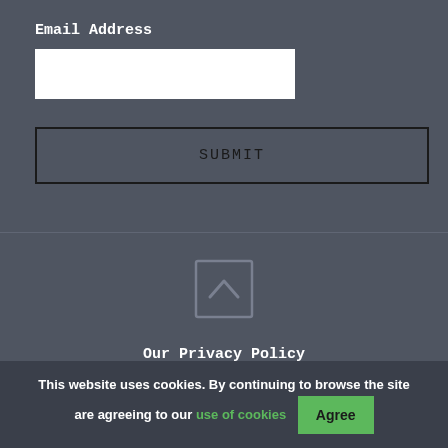Email Address
[Figure (screenshot): White input box for email address entry]
SUBMIT
[Figure (infographic): Scroll-to-top button with up arrow icon, outlined square with caret]
Our Privacy Policy
Copyright © 2021 Headheart Ltd trading as
This website uses cookies. By continuing to browse the site are agreeing to our use of cookies   Agree